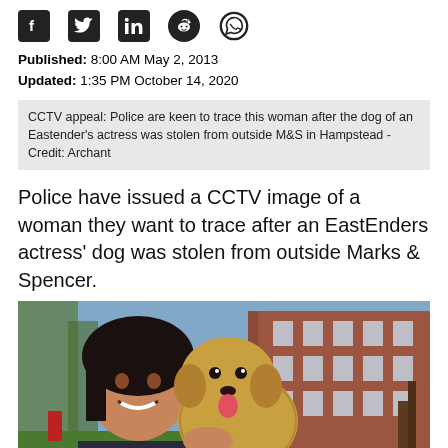[Figure (other): Social media sharing icons: Facebook, Twitter, LinkedIn, Reddit, WhatsApp]
Published: 8:00 AM May 2, 2013
Updated: 1:35 PM October 14, 2020
CCTV appeal: Police are keen to trace this woman after the dog of an Eastender's actress was stolen from outside M&S in Hampstead - Credit: Archant
Police have issued a CCTV image of a woman they want to trace after an EastEnders actress' dog was stolen from outside Marks & Spencer.
[Figure (photo): A woman with dark hair smiling and holding a small terrier dog, with a red brick building visible in the background on a sunny day.]